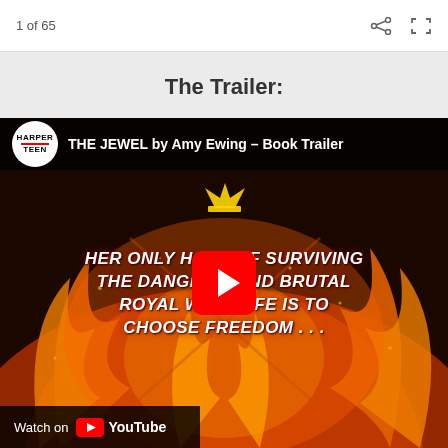1 of 65
The Trailer:
[Figure (screenshot): YouTube video embed showing 'THE JEWEL by Amy Ewing – Book Trailer' with HarperTeen logo, fiery background with text 'HER ONLY HOPE OF SURVIVING THE DANGEROUS AND BRUTAL ROYAL WAY OF LIFE IS TO CHOOSE FREEDOM . . .', red YouTube play button in center, and 'Watch on YouTube' bar at bottom left]